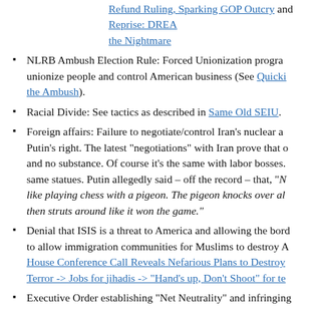Refund Ruling, Sparking GOP Outcry and Reprise: DREAM the Nightmare
NLRB Ambush Election Rule: Forced Unionization program to unionize people and control American business (See Quickie the Ambush).
Racial Divide: See tactics as described in Same Old SEIU.
Foreign affairs: Failure to negotiate/control Iran’s nuclear ambitions and Putin’s right. The latest “negotiations” with Iran prove that Obama is all style and no substance. Of course it’s the same with labor bosses who worship the same statues. Putin allegedly said – off the record – that, “Negotiating with Obama is like playing chess with a pigeon. The pigeon knocks over all the pieces, then struts around like it won the game.”
Denial that ISIS is a threat to America and allowing the border to allow immigration communities for Muslims to destroy America. House Conference Call Reveals Nefarious Plans to Destroy Terror -> Jobs for jihadis -> “Hand’s up, Don’t Shoot” for terror
Executive Order establishing “Net Neutrality” and infringing
Threatening to issue an Executive Order to ban ammunition America’s means of defending itself from “Martial Law.”